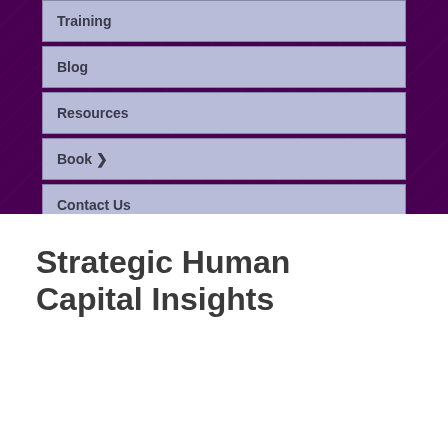Training
Blog
Resources
Book ❯
Contact Us
Strategic Human Capital Insights